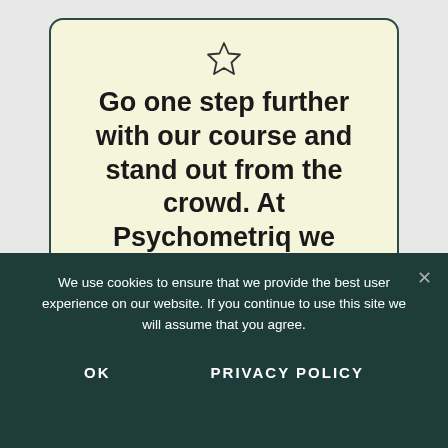[Figure (illustration): Star outline icon (☆) centered above the card text]
Go one step further with our course and stand out from the crowd. At Psychometriq we have created specific tests
We use cookies to ensure that we provide the best user experience on our website. If you continue to use this site we will assume that you agree.
OK
PRIVACY POLICY